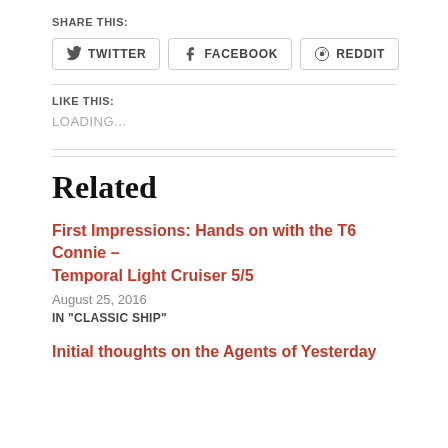SHARE THIS:
TWITTER   FACEBOOK   REDDIT
LIKE THIS:
LOADING...
Related
First Impressions: Hands on with the T6 Connie – Temporal Light Cruiser 5/5
August 25, 2016
IN "CLASSIC SHIP"
Initial thoughts on the Agents of Yesterday